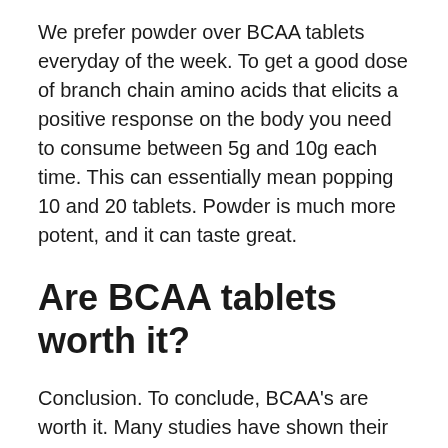We prefer powder over BCAA tablets everyday of the week. To get a good dose of branch chain amino acids that elicits a positive response on the body you need to consume between 5g and 10g each time. This can essentially mean popping 10 and 20 tablets. Powder is much more potent, and it can taste great.
Are BCAA tablets worth it?
Conclusion. To conclude, BCAA's are worth it. Many studies have shown their ability to trigger protein synthesis and help with recovery, which is ultimately their goal. They allow your body a greater chance for rebuilding and repairing muscles without harming your macros, which is ideal if on a